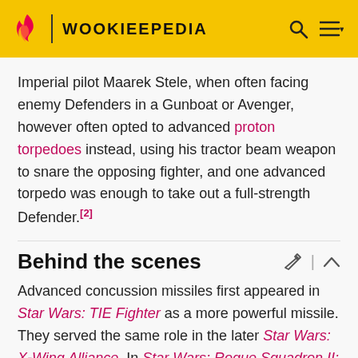WOOKIEEPEDIA
Imperial pilot Maarek Stele, when often facing enemy Defenders in a Gunboat or Avenger, however often opted to advanced proton torpedoes instead, using his tractor beam weapon to snare the opposing fighter, and one advanced torpedo was enough to take out a full-strength Defender.[2]
Behind the scenes
Advanced concussion missiles first appeared in Star Wars: TIE Fighter as a more powerful missile. They served the same role in the later Star Wars: X-Wing Alliance. In Star Wars: Rogue Squadron II: Rogue Leader, concussion missiles may be upgraded to the advanced version if the